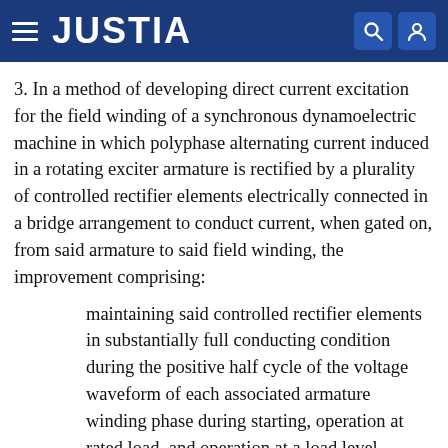JUSTIA
3. In a method of developing direct current excitation for the field winding of a synchronous dynamoelectric machine in which polyphase alternating current induced in a rotating exciter armature is rectified by a plurality of controlled rectifier elements electrically connected in a bridge arrangement to conduct current, when gated on, from said armature to said field winding, the improvement comprising:
maintaining said controlled rectifier elements in substantially full conducting condition during the positive half cycle of the voltage waveform of each associated armature winding phase during starting, operation at rated load, and operation at a load level exceeding rated load in a forcing mode of operation; and,